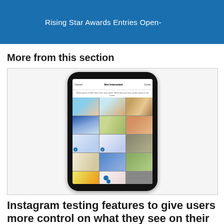Rising Star Awards Entries Open-
More from this section
[Figure (screenshot): A smartphone screen showing Instagram's 'Not Interested' feature interface with a grid of photos the user can select to indicate they are not interested in seeing similar content in the future.]
Instagram testing features to give users more control on what they see on their feed